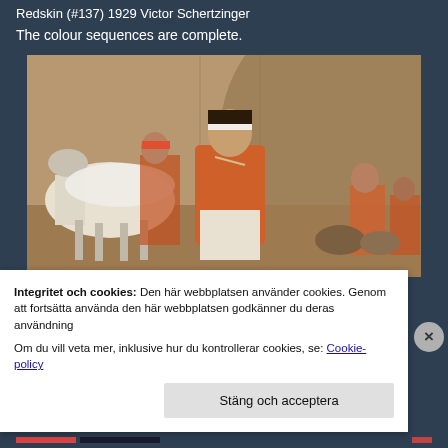Redskin (#137) 1929 Victor Schertzinger
The colour sequences are complete.
[Figure (photo): A film still from Redskin (1929) showing a woman in an orange top with a white headband, seated near a white horse, with adobe walls in the background and other figures in orange clothing at the right edge.]
Integritet och cookies: Den här webbplatsen använder cookies. Genom att fortsätta använda den här webbplatsen godkänner du deras användning
Om du vill veta mer, inklusive hur du kontrollerar cookies, se: Cookie-policy
Stäng och acceptera